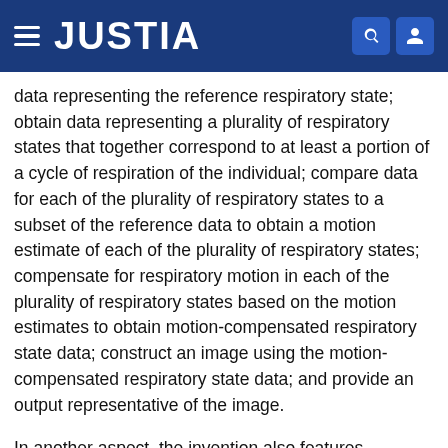JUSTIA
data representing the reference respiratory state; obtain data representing a plurality of respiratory states that together correspond to at least a portion of a cycle of respiration of the individual; compare data for each of the plurality of respiratory states to a subset of the reference data to obtain a motion estimate of each of the plurality of respiratory states; compensate for respiratory motion in each of the plurality of respiratory states based on the motion estimates to obtain motion-compensated respiratory state data; construct an image using the motion-compensated respiratory state data; and provide an output representative of the image.
In another aspect, the invention also features computer-readable media storing a computer program for compensating for respiratory motion of an individual in nuclear imaging of an object. These computer programs